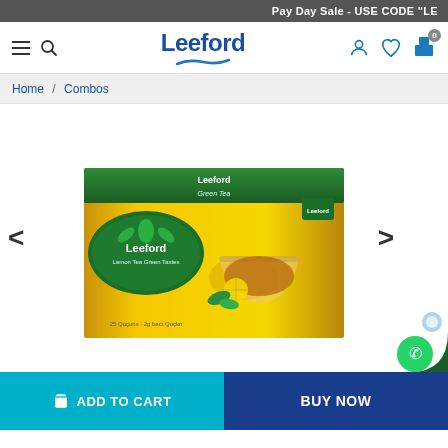Pay Day Sale - USE CODE "LE
[Figure (screenshot): Leeford website navigation bar with hamburger menu, search icon, Leeford logo, user icon, heart wishlist icon, and cart icon with 0 badge]
Home / Combos
[Figure (photo): Leeford tea product box - yellow and green box showing Leeford Green Tea with lemon, with a cup of tea image on front]
ADD TO CART
BUY NOW